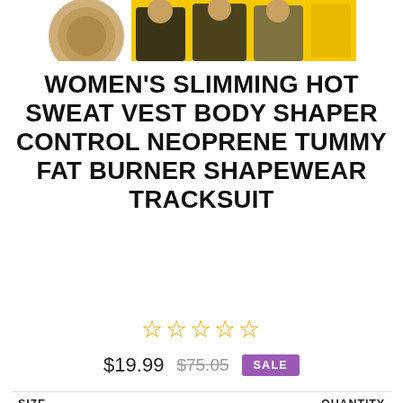[Figure (photo): Product images at top: a round/ball image on the left and a collage of women wearing shapewear on the right with yellow background]
WOMEN'S SLIMMING HOT SWEAT VEST BODY SHAPER CONTROL NEOPRENE TUMMY FAT BURNER SHAPEWEAR TRACKSUIT
☆☆☆☆☆ (star rating, 0 reviews)
$19.99  $75.05  SALE
SIZE   QUANTITY
M   Chat with us